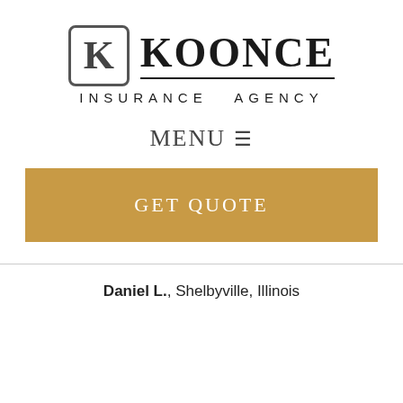[Figure (logo): Koonce Insurance Agency logo with stylized K in a rounded square box and KOONCE in large serif text with a horizontal rule, and INSURANCE AGENCY in spaced sans-serif below]
MENU ≡
GET QUOTE
Daniel L., Shelbyville, Illinois